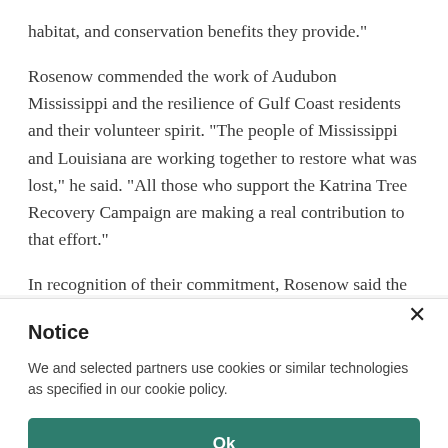habitat, and conservation benefits they provide."
Rosenow commended the work of Audubon Mississippi and the resilience of Gulf Coast residents and their volunteer spirit. "The people of Mississippi and Louisiana are working together to restore what was lost," he said. "All those who support the Katrina Tree Recovery Campaign are making a real contribution to that effort."
In recognition of their commitment, Rosenow said the
Notice
We and selected partners use cookies or similar technologies as specified in our cookie policy.
Ok
Cookie Policy